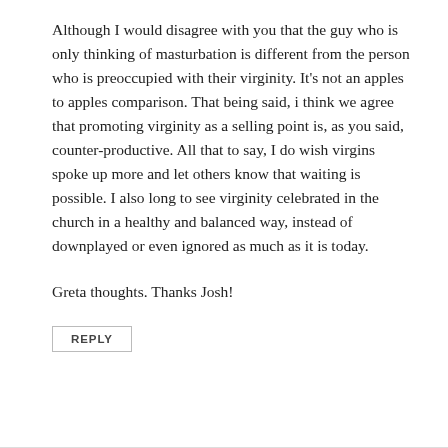Although I would disagree with you that the guy who is only thinking of masturbation is different from the person who is preoccupied with their virginity. It's not an apples to apples comparison. That being said, i think we agree that promoting virginity as a selling point is, as you said, counter-productive. All that to say, I do wish virgins spoke up more and let others know that waiting is possible. I also long to see virginity celebrated in the church in a healthy and balanced way, instead of downplayed or even ignored as much as it is today.
Greta thoughts. Thanks Josh!
REPLY